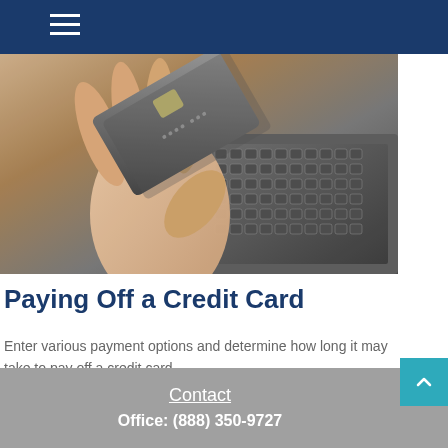[Figure (photo): A person holding a credit card in front of a laptop keyboard, photographed close up.]
Paying Off a Credit Card
Enter various payment options and determine how long it may take to pay off a credit card.
Contact
Office: (888) 350-9727